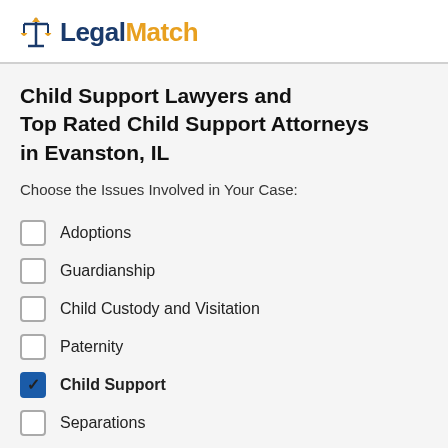LegalMatch
Child Support Lawyers and Top Rated Child Support Attorneys in Evanston, IL
Choose the Issues Involved in Your Case:
Adoptions
Guardianship
Child Custody and Visitation
Paternity
Child Support
Separations
Divorce
Spousal Support or Alimony